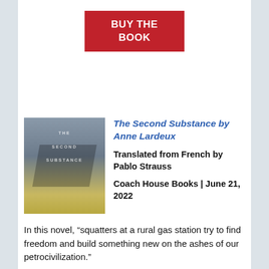[Figure (other): Red button with text 'BUY THE BOOK' in white bold letters]
[Figure (illustration): Book cover of 'The Second Substance' showing a stylized bird or whale silhouette in dark grey tones over a yellow/gold background]
The Second Substance by Anne Lardeux
Translated from French by Pablo Strauss
Coach House Books | June 21, 2022
In this novel, “squatters at a rural gas station try to find freedom and build something new on the ashes of our petrocivilization.”